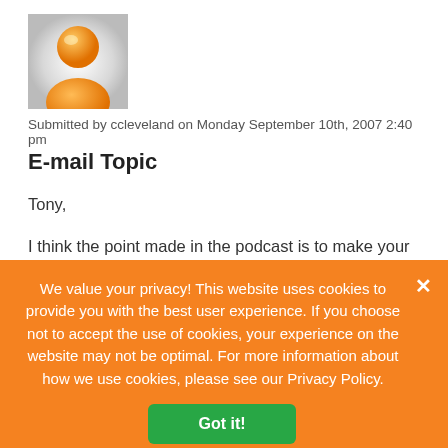[Figure (illustration): Orange user avatar icon on light gray background — a stylized orange person silhouette with a round head and body, with a radial glow effect.]
Submitted by ccleveland on Monday September 10th, 2007 2:40 pm
E-mail Topic
Tony,
I think the point made in the podcast is to make your point in the first, concise sentence.
Many people like to build to a climax by telling a story. Several
We value your privacy! This website uses cookies to provide you with the best user experience. If you choose not to accept the use of cookies, your experience on the website may not be optimal. For more information about how we use cookies, please see our Privacy Policy.
Got it!